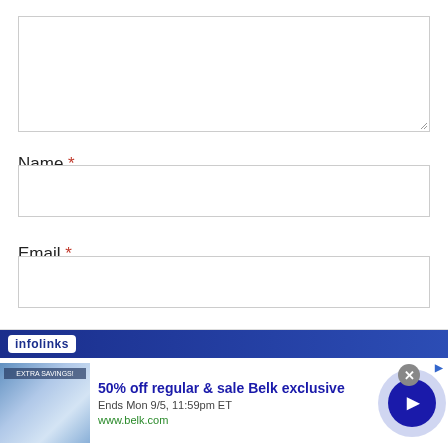[Figure (screenshot): A web form textarea input box, empty, with a resize handle in the bottom-right corner]
Name *
[Figure (screenshot): A web form text input box for Name, empty]
Email *
[Figure (screenshot): A web form text input box for Email, empty]
[Figure (screenshot): Infolinks advertisement banner: '50% off regular & sale Belk exclusive', Ends Mon 9/5, 11:59pm ET, www.belk.com, with bedding product image and navigation arrow button]